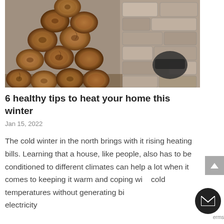[Figure (photo): A stack of cut firewood logs arranged in a pile, with a stone wall and dark metallic objects visible in the background. Photo is in muted, desaturated tones.]
6 healthy tips to heat your home this winter
Jan 15, 2022
The cold winter in the north brings with it rising heating bills. Learning that a house, like people, also has to be conditioned to different climates can help a lot when it comes to keeping it warm and coping with cold temperatures without generating big electricity